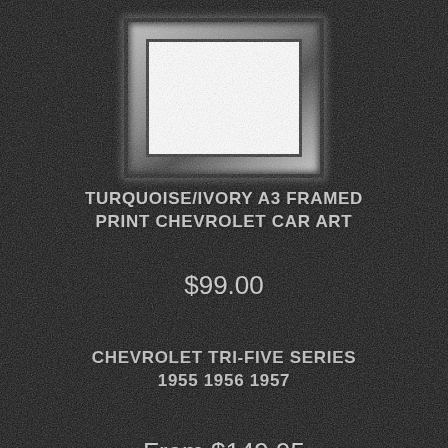[Figure (illustration): A silver/chrome picture frame with white interior mat area, displayed against dark textured background.]
TURQUOISE/IVORY A3 FRAMED PRINT CHEVROLET CAR ART
$99.00
CHEVROLET TRI-FIVE SERIES 1955 1956 1957
From $149.95